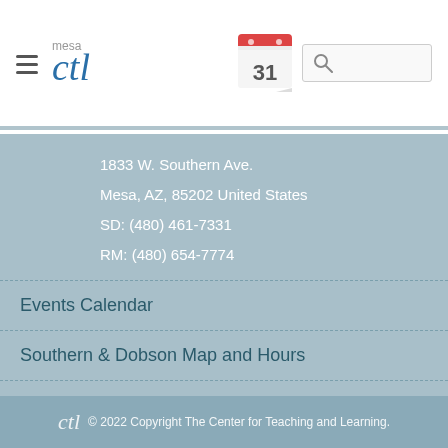mesa ctl — navigation header with calendar and search
1833 W. Southern Ave.
Mesa, AZ, 85202 United States
SD: (480) 461-7331
RM: (480) 654-7774
Events Calendar
Southern & Dobson Map and Hours
Red Mountain Map and Hours
Disclaimer
© 2022 Copyright The Center for Teaching and Learning.